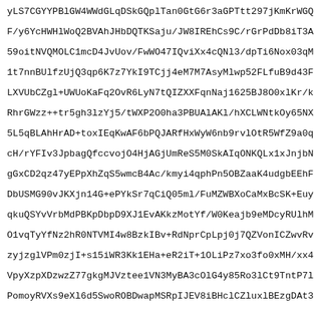yLS7CGYYPBlGW4WWdGLqDSkGQplTan0GtG6r3aGPTtt297jKmKrWGQH
F/y6YcHWHlWoQ2BVAhJHbDQTKSaju/JW8IREhCs9C/rGrPdDb8iT3AL
59oitNVQMOLC1mcD4JvUov/FwWO47IQviXx4cQNl3/dpTi6Nox03qMu
1t7nnBUlfzUjQ3qp6K7z7YkI9TCjj4eM7M7AsyMlwp52FLfuB9d43F4
LXVUbCZgl+UWUoKaFq2OvR6LyN7tQIZXXFqnNaj1625BJ8O0xlKr/kJ
RhrGWzz++tr5gh3lzYj5/tWXP2O0ha3PBUAlAKl/hXCLWNtkOy65NX/
5L5qBLAhHrAD+toxIEqKwAF6bPQJARfHxWyW6nb9rvlOtR5WfZ9a0qL
cH/rYFIv3JpbagQfccvojO4HjAGjUmReS5M0SkAIqONKQLx1xJnjbNY
gGxCD2qz47yEPpXhZqS5wmcB4Ac/kmyi4qphPn5OBZaaK4udgbEEhFG
DbUSMG90vJKXjn14G+ePYkSr7qCiQ05ml/FuMZWBXoCaMxBcSK+EuyQ
qkuQSYvVrbMdPBKpDbpD9XJ1EvAKkzMotYf/W0Keajb9eMDcyRUlhMa
O1vqTyYfNz2hR0NTVMI4w8BzkIBv+RdNprCpLpj0j7QZVonICZwvRvx
zyjzglVPm0zjI+s15iWR3Kk1EHa+eR2iT+1OLiPz7xo3fo0xMH/xx4h
VpyXzpXDzwzZ77gkgMJVztee1VN3MyBA3cOlG4y85Ro3lCt9TntP7ln
PomoyRVXs9eXl6d5SwoROBDwapMSRpIJEV8iBHclCZluxlBEzgDAt3y